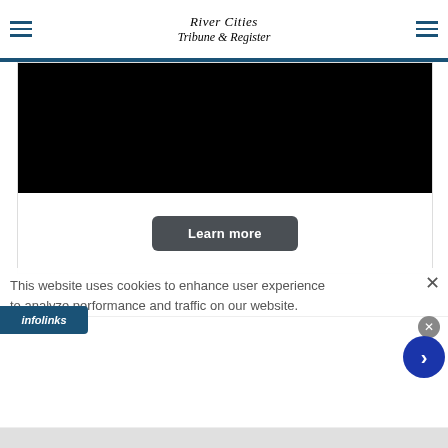River Cities Tribune & Register
[Figure (screenshot): Black video/embed area with a Learn more button below it, inside a white card]
This website uses cookies to enhance user experience to analyze performance and traffic on our website.
[Figure (infographic): Infolinks bar logo and ad banner showing 'Key Signs That Multiple Sclerosis Treatments' with image of person and n/a label, close button and next arrow button]